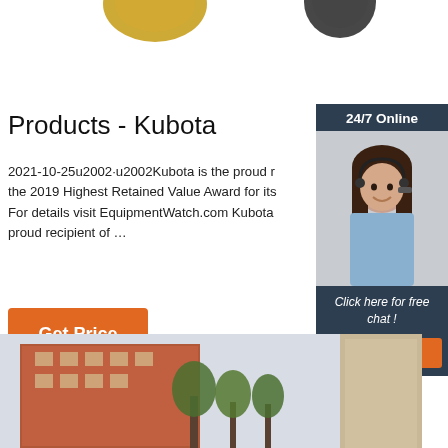[Figure (photo): Partial product images at top — yellow and black helmet/equipment tops cropped]
Products - Kubota
2021-10-25u2002·u2002Kubota is the proud r the 2019 Highest Retained Value Award for its For details visit EquipmentWatch.com Kubota proud recipient of …
[Figure (other): Get Price orange button]
[Figure (photo): Chat widget sidebar with woman wearing headset, 24/7 Online header, Click here for free chat text, and QUOTATION orange button]
[Figure (photo): Bottom photo showing urban street scene with buildings and trees]